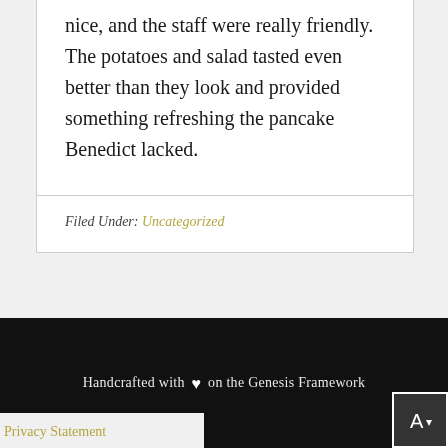nice, and the staff were really friendly. The potatoes and salad tasted even better than they look and provided something refreshing the pancake Benedict lacked.
Filed Under: Uncategorized
Handcrafted with ♥ on the Genesis Framework
Privacy Statement